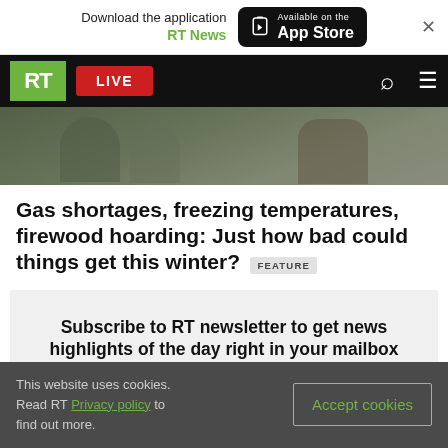Download the application RT News — Available on the App Store
RT LIVE
[Figure (photo): Outdoor scene with people, partially visible, dimmed hero image]
Gas shortages, freezing temperatures, firewood hoarding: Just how bad could things get this winter? FEATURE
Subscribe to RT newsletter to get news highlights of the day right in your mailbox
This website uses cookies. Read RT Privacy policy to find out more. Accept cookies